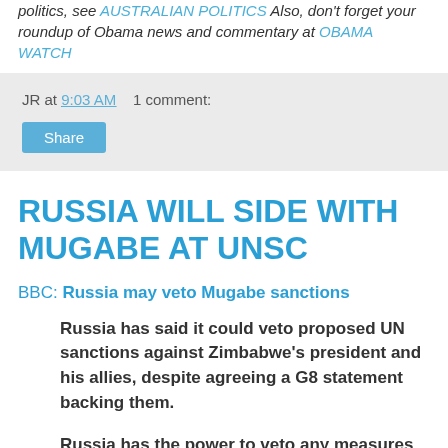politics, see AUSTRALIAN POLITICS Also, don't forget your roundup of Obama news and commentary at OBAMA WATCH
JR at 9:03 AM    1 comment:
Share
RUSSIA WILL SIDE WITH MUGABE AT UNSC
BBC: Russia may veto Mugabe sanctions
Russia has said it could veto proposed UN sanctions against Zimbabwe's president and his allies, despite agreeing a G8 statement backing them.
Russia has the power to veto any measures at the UN Security Council, which could take a vote this week.